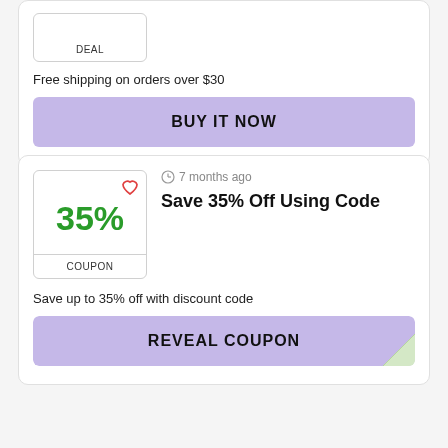[Figure (other): Deal badge box with label DEAL]
Free shipping on orders over $30
BUY IT NOW
7 months ago
Save 35% Off Using Code
[Figure (other): Coupon badge showing 35% with heart icon and COUPON label]
Save up to 35% off with discount code
REVEAL COUPON